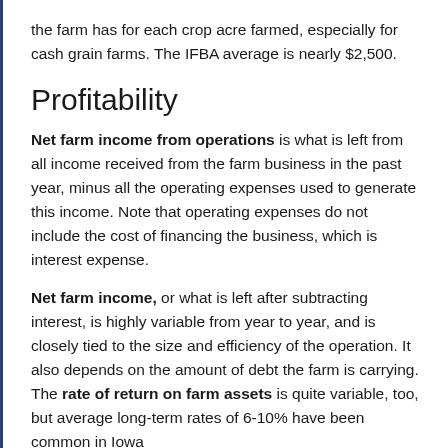the farm has for each crop acre farmed, especially for cash grain farms. The IFBA average is nearly $2,500.
Profitability
Net farm income from operations is what is left from all income received from the farm business in the past year, minus all the operating expenses used to generate this income. Note that operating expenses do not include the cost of financing the business, which is interest expense.
Net farm income, or what is left after subtracting interest, is highly variable from year to year, and is closely tied to the size and efficiency of the operation. It also depends on the amount of debt the farm is carrying. The rate of return on farm assets is quite variable, too, but average long-term rates of 6-10% have been common in Iowa.